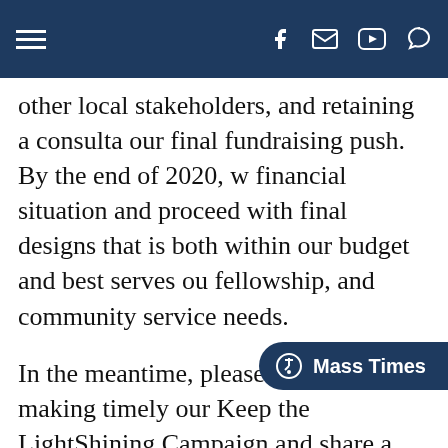Navigation bar with hamburger menu and social icons (Facebook, email, YouTube, chat)
other local stakeholders, and retaining a consulta... our final fundraising push. By the end of 2020, w... financial situation and proceed with final designs... that is both within our budget and best serves ou... fellowship, and community service needs.
In the meantime, please continue making timely... our Keep the LightShining Campaign and share a... recommendations on who else we might approac... our fundraising goal. And if you have not yet mad... and find it in your heart and budget to do so now... discussion or meeting with o... ee... b...